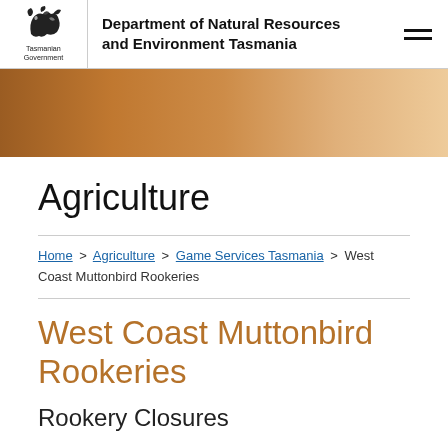Department of Natural Resources and Environment Tasmania
[Figure (logo): Tasmanian Government logo with stylized animal silhouette and text 'Tasmanian Government']
Agriculture
Home > Agriculture > Game Services Tasmania > West Coast Muttonbird Rookeries
West Coast Muttonbird Rookeries
Rookery Closures